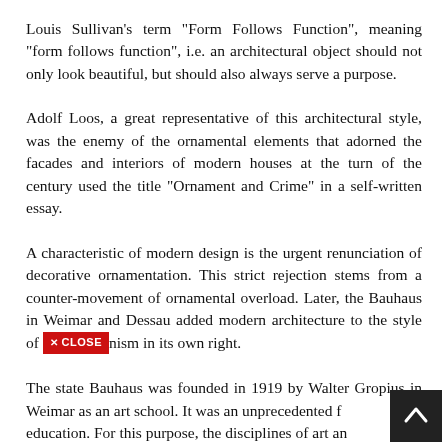Louis Sullivan's term "Form Follows Function", meaning "form follows function", i.e. an architectural object should not only look beautiful, but should also always serve a purpose.
Adolf Loos, a great representative of this architectural style, was the enemy of the ornamental elements that adorned the facades and interiors of modern houses at the turn of the century used the title "Ornament and Crime" in a self-written essay.
A characteristic of modern design is the urgent renunciation of decorative ornamentation. This strict rejection stems from a counter-movement of ornamental overload. Later, the Bauhaus in Weimar and Dessau added modern architecture to the style of Modernism in its own right.
The state Bauhaus was founded in 1919 by Walter Gropius in Weimar as an art school. It was an unprecedented [form of] education. For this purpose, the disciplines of art and [craft] were combined in the classroom.